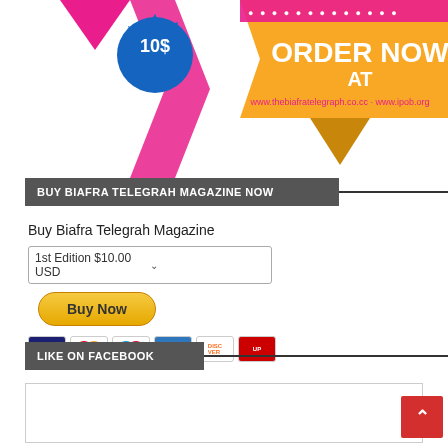[Figure (infographic): Promotional banner for Biafra Telegraph magazine showing '10$' badge, 'ORDER NOW AT' text with URLs www.thebiafratelegraph.co.cc and www.ipob.org on yellow/gold ribbon graphic with pink/magenta arrow elements]
BUY BIAFRA TELEGRAH MAGAZINE NOW
Buy Biafra Telegrah Magazine
1st Edition $10.00 USD
[Figure (screenshot): PayPal Buy Now button in yellow/gold]
[Figure (infographic): Payment card icons: VISA, Mastercard, Maestro, American Express, Discover, UnionPay]
LIKE ON FACEBOOK
[Figure (screenshot): Facebook embed widget box (empty/loading)]